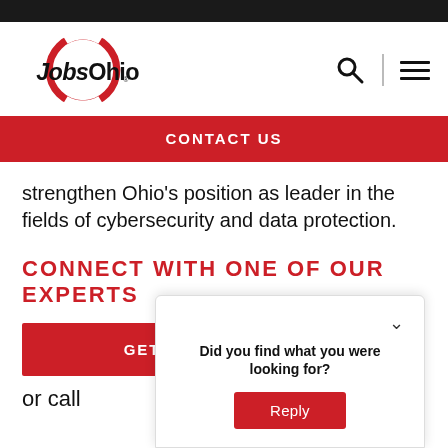[Figure (logo): JobsOhio logo with red circle graphic and bold black JobsOhio. text]
CONTACT US
strengthen Ohio's position as leader in the fields of cybersecurity and data protection.
CONNECT WITH ONE OF OUR EXPERTS
GET STARTED
or call
Did you find what you were looking for? Reply